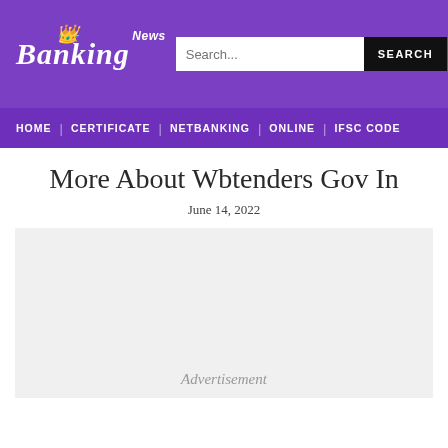Banking News — HOME | CERTIFICATE | NETBANKING | ONLINE | IFSC CODE
More About Wbtenders Gov In
June 14, 2022
[Figure (other): Advertisement placeholder block]